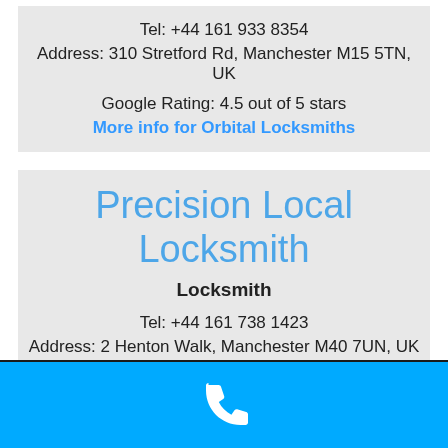Tel: +44 161 933 8354
Address: 310 Stretford Rd, Manchester M15 5TN, UK
Google Rating: 4.5 out of 5 stars
More info for Orbital Locksmiths
Precision Local Locksmith
Locksmith
Tel: +44 161 738 1423
Address: 2 Henton Walk, Manchester M40 7UN, UK
Google Rating: 5.0 out of 5 stars
More info for Precision Local Locksmith
[Figure (illustration): Blue phone bar with white phone call icon at the bottom of the page]